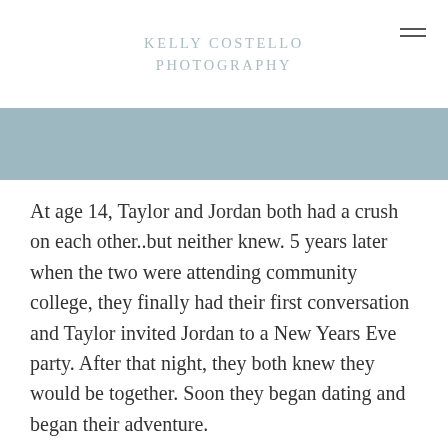KELLY COSTELLO PHOTOGRAPHY
[Figure (photo): Blue-gray banner/hero image area]
At age 14, Taylor and Jordan both had a crush on each other..but neither knew. 5 years later when the two were attending community college, they finally had their first conversation and Taylor invited Jordan to a New Years Eve party. After that night, they both knew they would be together. Soon they began dating and began their adventure.
Last Christmas, Taylor's family went on